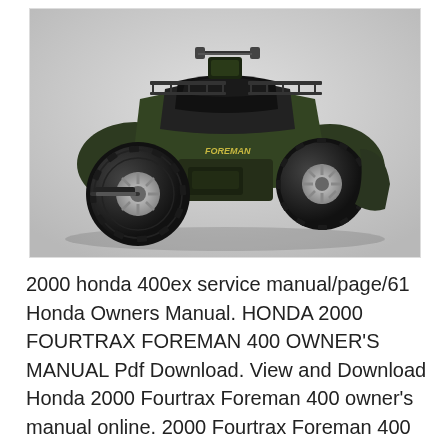[Figure (photo): Photo of a dark green Honda Fourtrax Foreman 400 4x4 ATV on a white/grey background, three-quarter front view showing four large knobby tires, front and rear cargo racks, and handlebar area.]
2000 honda 400ex service manual/page/61 Honda Owners Manual. HONDA 2000 FOURTRAX FOREMAN 400 OWNER'S MANUAL Pdf Download. View and Download Honda 2000 Fourtrax Foreman 400 owner's manual online. 2000 Fourtrax Foreman 400 Offroad Vehicle pdf manual download.